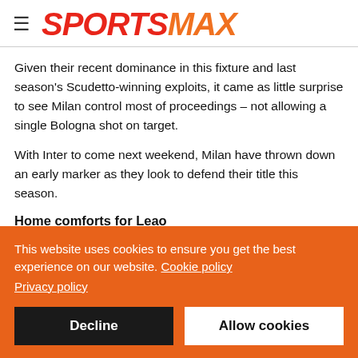SPORTSMAX
Given their recent dominance in this fixture and last season's Scudetto-winning exploits, it came as little surprise to see Milan control most of proceedings – not allowing a single Bologna shot on target.
With Inter to come next weekend, Milan have thrown down an early marker as they look to defend their title this season.
Home comforts for Leao
This website uses cookies to ensure you get the best experience on our website. Cookie policy
Privacy policy
Decline | Allow cookies